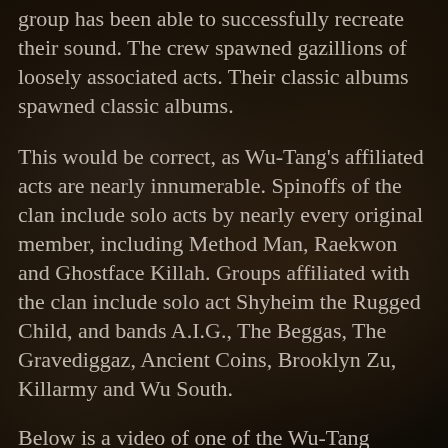group has been able to successfully recreate their sound. The crew spawned gazillions of loosely associated acts. Their classic albums spawned classic albums.
This would be correct, as Wu-Tang's affiliated acts are nearly innumerable. Spinoffs of the clan include solo acts by nearly every original member, including Method Man, Raekwon and Ghostface Killah. Groups affiliated with the clan include solo act Shyheim the Rugged Child, and bands A.I.G., The Beggas, The Gravediggaz, Ancient Coins, Brooklyn Zu, Killarmy and Wu South.
Below is a video of one of the Wu-Tang